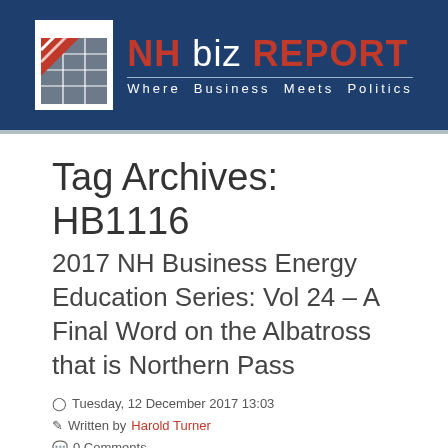[Figure (logo): NH biz REPORT logo — blue banner header with white logo box containing a stylized building/flag graphic in red and gray, site title 'NH biz REPORT' in red/white bold sans-serif, tagline 'Where Business Meets Politics' in white spaced letters]
Tag Archives: HB1116
2017 NH Business Energy Education Series: Vol 24 – A Final Word on the Albatross that is Northern Pass
Tuesday, 12 December 2017 13:03
Written by Harold Turner
0 Comments
As our 2017 Business Energy Education Series draws to a close, in December, I couldn't help but share a few ti